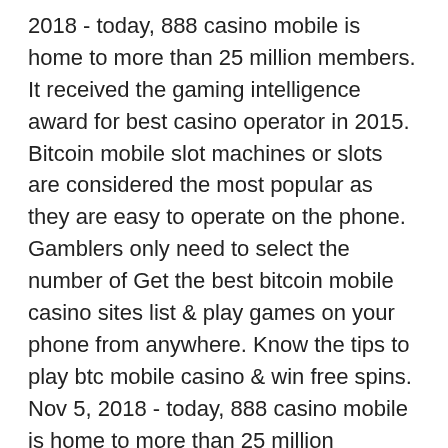2018 - today, 888 casino mobile is home to more than 25 million members. It received the gaming intelligence award for best casino operator in 2015. Bitcoin mobile slot machines or slots are considered the most popular as they are easy to operate on the phone. Gamblers only need to select the number of Get the best bitcoin mobile casino sites list &amp; play games on your phone from anywhere. Know the tips to play btc mobile casino &amp; win free spins. Nov 5, 2018 - today, 888 casino mobile is home to more than 25 million members. It received the gaming intelligence award for best casino operator in 2015. It's a simple app for your pc or mobile that stores your btc. Super slots - best. So, the gambling sites that accept cryptocurrencies fall into three common categories: crypto casinos (blackjack, slots, video poker, craps. Playing bitcoin casino games on mobile devices is